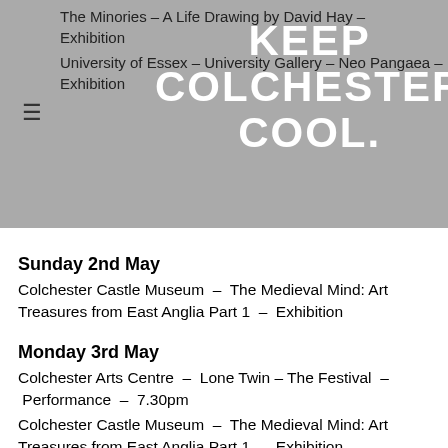The Minories – A Life Drawing by David Hay – Exhibition
University of Essex – University Gallery – Neo Pangaea – Exhibition
[Figure (logo): KEEP COLCHESTER COOL watermark text in white on grey background]
Sunday 2nd May
Colchester Castle Museum – The Medieval Mind: Art Treasures from East Anglia Part 1 – Exhibition
Monday 3rd May
Colchester Arts Centre – Lone Twin – The Festival – Performance – 7.30pm
Colchester Castle Museum – The Medieval Mind: Art Treasures from East Anglia Part 1 – Exhibition
Cuckoo Farm Studios – Footfall – Tim Skinner – Exhibition
firstsite – Learning in May: Participatory Art Activities – Art